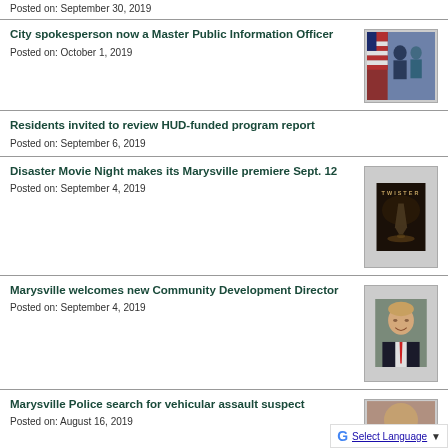Posted on: September 30, 2019
City spokesperson now a Master Public Information Officer
Posted on: October 1, 2019
[Figure (photo): Two people standing in front of American flag and blue banner, one holding a certificate or plaque]
Residents invited to review HUD-funded program report
Posted on: September 6, 2019
Disaster Movie Night makes its Marysville premiere Sept. 12
Posted on: September 4, 2019
[Figure (photo): Twister movie poster with dark stormy sky and tornado]
Marysville welcomes new Community Development Director
Posted on: September 4, 2019
[Figure (photo): Headshot of a man in a suit with red tie, smiling]
Marysville Police search for vehicular assault suspect
Posted on: August 16, 2019
[Figure (photo): Partially visible photo, appears to be a person]